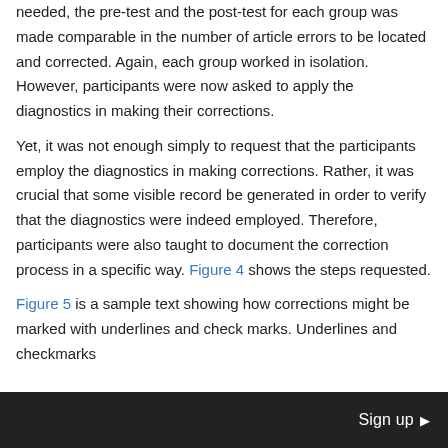needed, the pre-test and the post-test for each group was made comparable in the number of article errors to be located and corrected. Again, each group worked in isolation. However, participants were now asked to apply the diagnostics in making their corrections.
Yet, it was not enough simply to request that the participants employ the diagnostics in making corrections. Rather, it was crucial that some visible record be generated in order to verify that the diagnostics were indeed employed. Therefore, participants were also taught to document the correction process in a specific way. Figure 4 shows the steps requested.
Figure 5 is a sample text showing how corrections might be marked with underlines and check marks. Underlines and checkmarks
Sign up